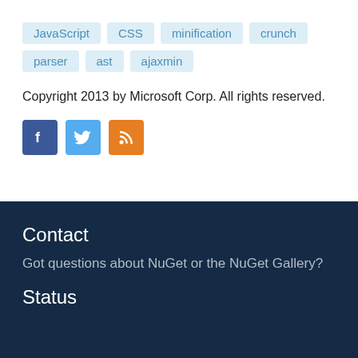JavaScript
CSS
minification
crunch
parser
ast
ajaxmin
Copyright 2013 by Microsoft Corp. All rights reserved.
[Figure (other): Social media icons: Facebook, Twitter, RSS feed]
Contact
Got questions about NuGet or the NuGet Gallery?
Status